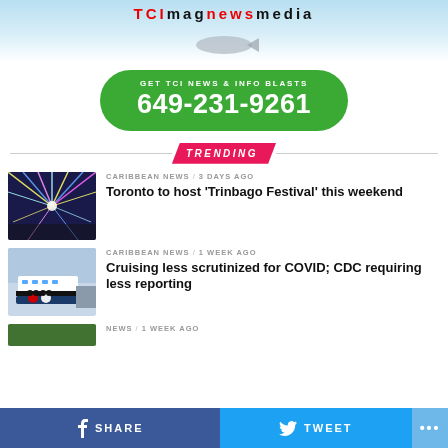tcimagnews media
[Figure (infographic): Green rounded rectangle button with white text: GET TCI NEWS & INFO BLASTS / 649-231-9261]
TRENDING
[Figure (photo): Colorful light show fireworks festival image]
CARIBBEAN NEWS / 3 days ago
Toronto to host ‘Trinbago Festival’ this weekend
[Figure (photo): Disney cruise ship with Mickey and Minnie Mouse characters]
CARIBBEAN NEWS / 1 week ago
Cruising less scrutinized for COVID; CDC requiring less reporting
SHARE   TWEET   ...